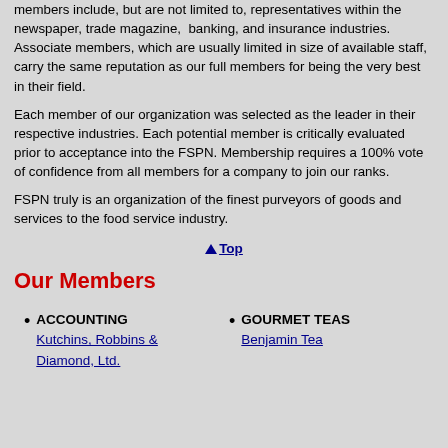members include, but are not limited to, representatives within the newspaper, trade magazine, banking, and insurance industries. Associate members, which are usually limited in size of available staff, carry the same reputation as our full members for being the very best in their field.
Each member of our organization was selected as the leader in their respective industries. Each potential member is critically evaluated prior to acceptance into the FSPN. Membership requires a 100% vote of confidence from all members for a company to join our ranks.
FSPN truly is an organization of the finest purveyors of goods and services to the food service industry.
▲ Top
Our Members
ACCOUNTING
Kutchins, Robbins & Diamond, Ltd.
GOURMET TEAS
Benjamin Tea